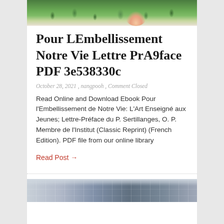[Figure (photo): Top portion of a photograph showing green grass and a hand, cropped at bottom of image]
Pour LEmbellissement Notre Vie Lettre PrA9face PDF 3e538330c
October 28, 2021 , nangpooh , Comment Closed
Read Online and Download Ebook Pour l'Embellissement de Notre Vie: L'Art Enseigné aux Jeunes; Lettre-Préface du P. Sertillanges, O. P. Membre de l'Institut (Classic Reprint) (French Edition). PDF file from our online library
Read Post →
[Figure (photo): Bottom portion of a photograph showing what appears to be books or shelving, partially visible]